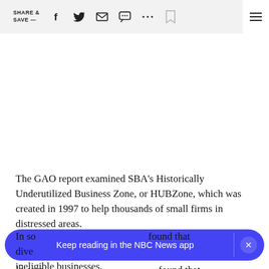SHARE & SAVE —
The GAO report examined SBA's Historically Underutilized Business Zone, or HUBZone, which was created in 1997 to help thousands of small firms in distressed areas.
In so[me cases the program found that ineligible] diver[ted…] ineligible businesses.
Keep reading in the NBC News app